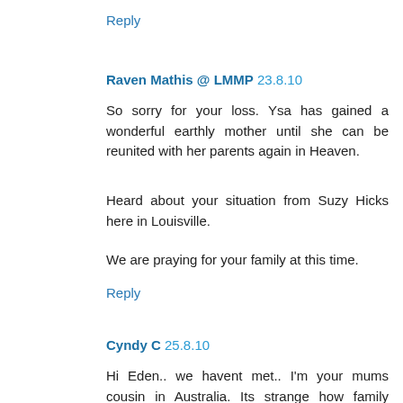Reply
Raven Mathis @ LMMP 23.8.10
So sorry for your loss. Ysa has gained a wonderful earthly mother until she can be reunited with her parents again in Heaven.
Heard about your situation from Suzy Hicks here in Louisville.
We are praying for your family at this time.
Reply
Cyndy C 25.8.10
Hi Eden.. we havent met.. I'm your mums cousin in Australia. Its strange how family connections work. I just feel so devastated for you all and the pain your going through. Even though I havent seen Cheri for many years